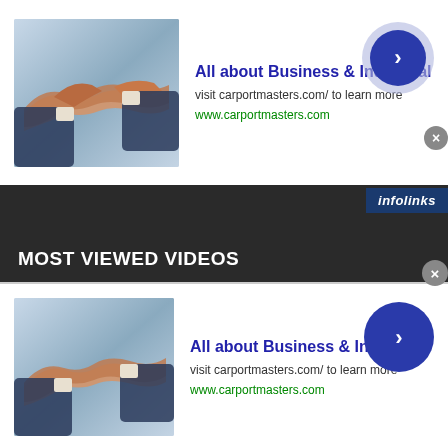[Figure (screenshot): Top advertisement banner: handshake photo thumbnail on left, ad text in middle, blue circle arrow button on right, close X button]
All about Business & Industrial
visit carportmasters.com/ to learn more
www.carportmasters.com
[Figure (screenshot): Dark background section with infolinks badge top-right]
MOST VIEWED VIDEOS
[Figure (screenshot): Video thumbnail strip showing close-up of car interior radio/dashboard controls with wood paneling]
[Figure (logo): infolinks badge bottom-left of video strip]
[Figure (screenshot): Bottom advertisement banner: handshake photo thumbnail on left, ad text in middle, blue circle arrow button on right, close X button]
All about Business & Industrial
visit carportmasters.com/ to learn more
www.carportmasters.com